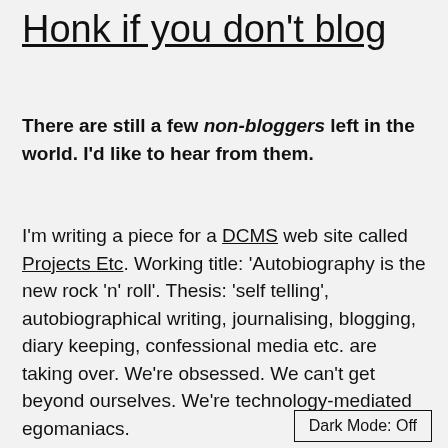Honk if you don't blog
There are still a few non-bloggers left in the world. I'd like to hear from them.
I'm writing a piece for a DCMS web site called Projects Etc. Working title: 'Autobiography is the new rock 'n' roll'. Thesis: 'self telling', autobiographical writing, journalising, blogging, diary keeping, confessional media etc. are taking over. We're obsessed. We can't get beyond ourselves. We're technology-mediated egomaniacs.
Dark Mode: Off